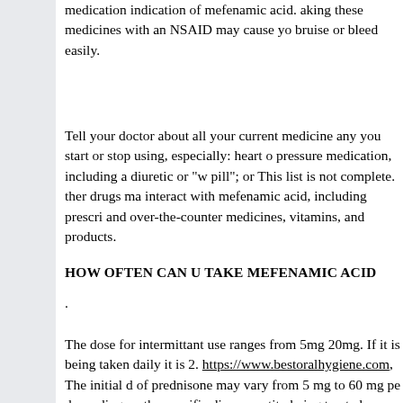medication indication of mefenamic acid. aking these medicines with an NSAID may cause you bruise or bleed easily.
Tell your doctor about all your current medicines any you start or stop using, especially: heart or pressure medication, including a diuretic or "water pill"; or This list is not complete. ther drugs may interact with mefenamic acid, including prescription and over-the-counter medicines, vitamins, and herbal products.
HOW OFTEN CAN U TAKE MEFENAMIC ACID
.
The dose for intermittant use ranges from 5mg to 20mg. If it is being taken daily it is 2. https://www.bestoralhygiene.com, The initial dose of prednisone may vary from 5 mg to 60 mg per day depending on the specific disease entity being treated.